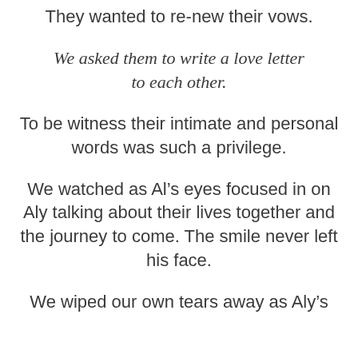They wanted to re-new their vows.
We asked them to write a love letter to each other.
To be witness their intimate and personal words was such a privilege.
We watched as Al’s eyes focused in on Aly talking about their lives together and the journey to come. The smile never left his face.
We wiped our own tears away as Aly’s